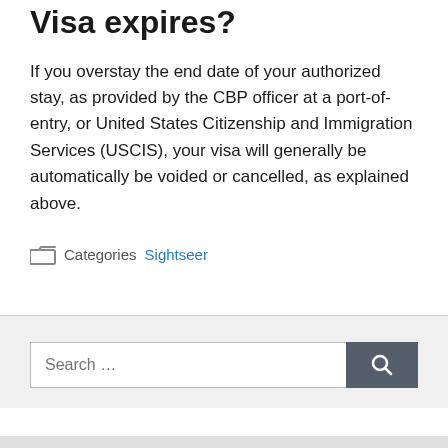Visa expires?
If you overstay the end date of your authorized stay, as provided by the CBP officer at a port-of-entry, or United States Citizenship and Immigration Services (USCIS), your visa will generally be automatically be voided or cancelled, as explained above.
Categories: Sightseer